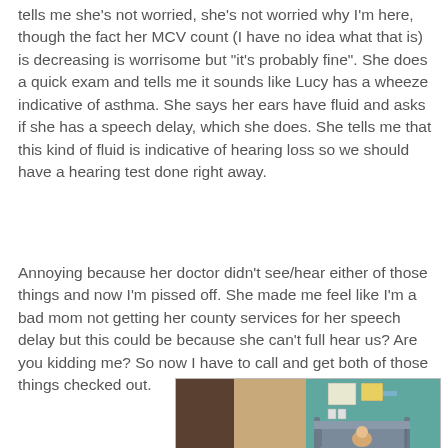tells me she's not worried, she's not worried why I'm here, though the fact her MCV count (I have no idea what that is) is decreasing is worrisome but "it's probably fine". She does a quick exam and tells me it sounds like Lucy has a wheeze indicative of asthma. She says her ears have fluid and asks if she has a speech delay, which she does. She tells me that this kind of fluid is indicative of hearing loss so we should have a hearing test done right away.
Annoying because her doctor didn't see/hear either of those things and now I'm pissed off. She made me feel like I'm a bad mom not getting her county services for her speech delay but this could be because she can't full hear us? Are you kidding me? So now I have to call and get both of those things checked out.
[Figure (photo): Photo of a medical exam room or waiting area with a teal/turquoise wall, a wooden door on the left, two chairs/couch with gray upholstery, papers on the wall, and a small child sitting in the chair.]